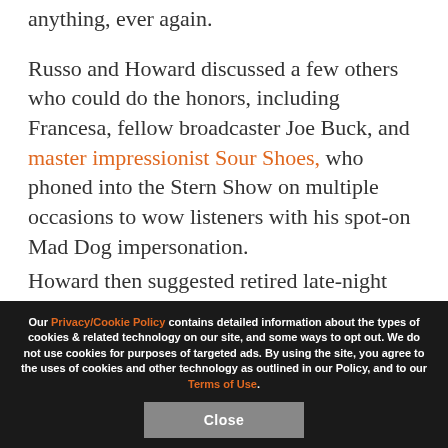anything, ever again.

Russo and Howard discussed a few others who could do the honors, including Francesa, fellow broadcaster Joe Buck, and master impressionist Sour Shoes, who phoned into the Stern Show on multiple occasions to wow listeners with his spot-on Mad Dog impersonation.

Howard then suggested retired late-night host David Letterman, who'd welcomed Russo on his own show a number of times over the years. Mad Dog loved the idea and had plenty of fond
Our Privacy/Cookie Policy contains detailed information about the types of cookies & related technology on our site, and some ways to opt out. We do not use cookies for purposes of targeted ads. By using the site, you agree to the uses of cookies and other technology as outlined in our Policy, and to our Terms of Use.